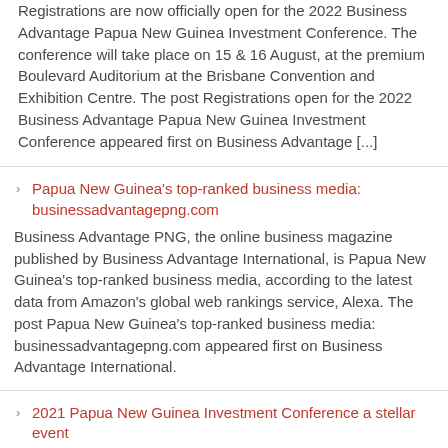Registrations are now officially open for the 2022 Business Advantage Papua New Guinea Investment Conference. The conference will take place on 15 & 16 August, at the premium Boulevard Auditorium at the Brisbane Convention and Exhibition Centre. The post Registrations open for the 2022 Business Advantage Papua New Guinea Investment Conference appeared first on Business Advantage [...]
Papua New Guinea's top-ranked business media: businessadvantagepng.com
Business Advantage PNG, the online business magazine published by Business Advantage International, is Papua New Guinea's top-ranked business media, according to the latest data from Amazon's global web rankings service, Alexa. The post Papua New Guinea's top-ranked business media: businessadvantagepng.com appeared first on Business Advantage International.
2021 Papua New Guinea Investment Conference a stellar event
With over high-calibre 40 speakers and hundreds of delegates over the three days of the event (7-9 September), the 2021 PNG Investment Conference was a great success. The post 2021 Papua New Guinea Investment Conference a stellar event appeared first on Business Advantage International.